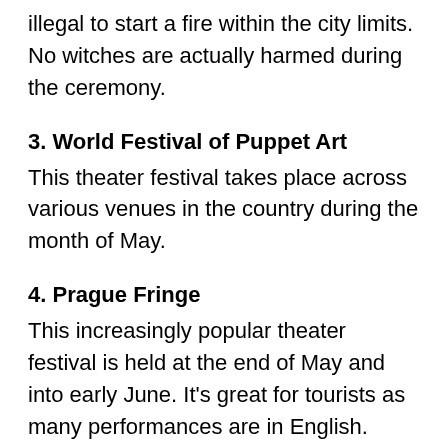illegal to start a fire within the city limits. No witches are actually harmed during the ceremony.
3. World Festival of Puppet Art
This theater festival takes place across various venues in the country during the month of May.
4. Prague Fringe
This increasingly popular theater festival is held at the end of May and into early June. It's great for tourists as many performances are in English.
5. Czech Folklore Festival
Each June, the Czech Folklore festival is a celebration of traditional art, music, and culture